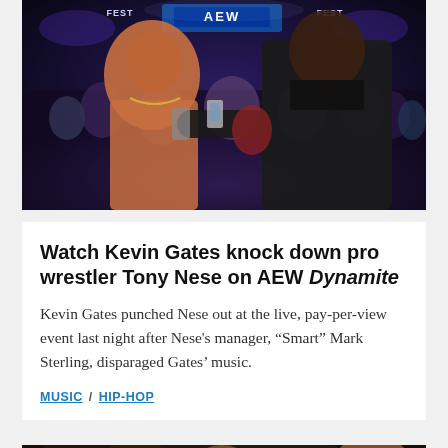[Figure (photo): Two men face each other at an AEW wrestling event. One shirtless muscular man (Tony Nese) wearing a chain necklace, another man in a black jacket (Kevin Gates), crowd visible in background with AEW Fest signage.]
Watch Kevin Gates knock down pro wrestler Tony Nese on AEW Dynamite
Kevin Gates punched Nese out at the live, pay-per-view event last night after Nese’s manager, “Smart” Mark Sterling, disparaged Gates’ music.
MUSIC / HIP-HOP
[Figure (photo): Partial view of people at an event, dark background.]